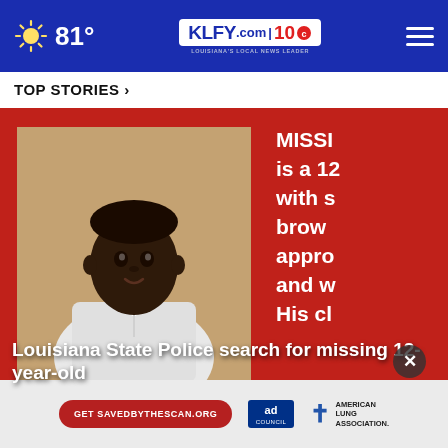81° KLFY.com 10 — LOUISIANA'S LOCAL NEWS LEADER
TOP STORIES ›
[Figure (screenshot): News story card on red background showing a young Black male teen in white polo shirt, partially visible text on right side reading 'MISSI... is a 12... with s... brow... appro... and w... His cl...' and headline overlay 'Louisiana State Police search for missing 12-year-old']
Louisiana State Police search for missing 12-year-old
[Figure (infographic): Ad banner: red pill button 'Get SAVEDBYTHESCAN.ORG', Ad Council logo, American Lung Association logo]